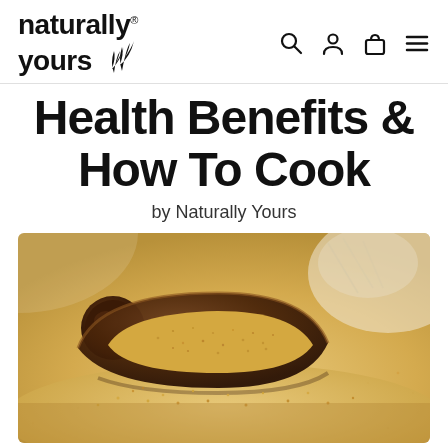naturally yours®
Health Benefits & How To Cook
by Naturally Yours
[Figure (photo): A wooden scoop filled with small golden amaranth seeds, sitting atop a large mound of the same seeds, with soft white fabric visible in the background.]